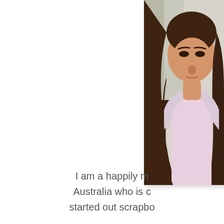[Figure (photo): Partial photo of a woman with long brown hair, cropped on the right side of the page. The photo has a white border/shadow frame. Background shows a light-colored door or wall.]
I am a happily m... Australia who is c... started out scrapbo...